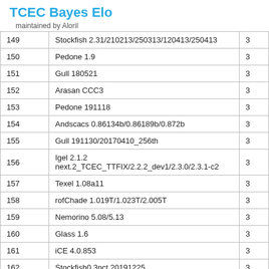TCEC Bayes Elo
maintained by Aloril
| # | Engine |  |
| --- | --- | --- |
| 149 | Stockfish 2.31/210213/250313/120413/250413 | 3 |
| 150 | Pedone 1.9 | 3 |
| 151 | Gull 180521 | 3 |
| 152 | Arasan CCC3 | 3 |
| 153 | Pedone 191118 | 3 |
| 154 | Andscacs 0.86134b/0.86189b/0.872b | 3 |
| 155 | Gull 191130/20170410_256th | 3 |
| 156 | Igel 2.1.2 next.2_TCEC_TTFIX/2.2.2_dev1/2.3.0/2.3.1-c2 | 3 |
| 157 | Texel 1.08a11 | 3 |
| 158 | rofChade 1.019T/1.023T/2.005T | 3 |
| 159 | Nemorino 5.08/5.13 | 3 |
| 160 | Glass 1.6 | 3 |
| 161 | iCE 4.0.853 | 3 |
| 162 | Stockfish0.3pct 20191225 | 3 |